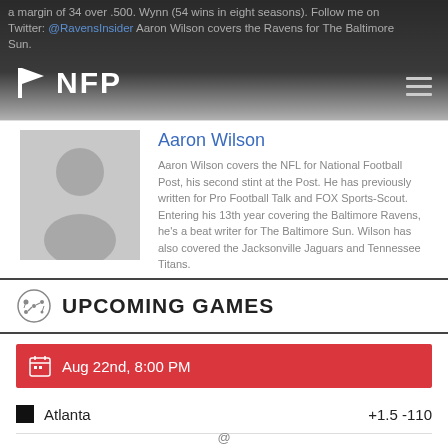a margin of 34 over .500. Wynn (54 wins in eight seasons). Follow me on Twitter: @RavensInsider Aaron Wilson covers the Ravens for The Baltimore Sun.
[Figure (logo): NFP National Football Post logo with flag icon]
[Figure (photo): Gray placeholder avatar silhouette for author]
Aaron Wilson
Aaron Wilson covers the NFL for National Football Post, his second stint at the Post. He has previously written for Pro Football Talk and FOX Sports-Scout. Entering his 13th year covering the Baltimore Ravens, he's a beat writer for The Baltimore Sun. Wilson has also covered the Jacksonville Jaguars and Tennessee Titans.
UPCOMING GAMES
Aug 22nd, 8:00 PM
Atlanta +1.5 -110
@